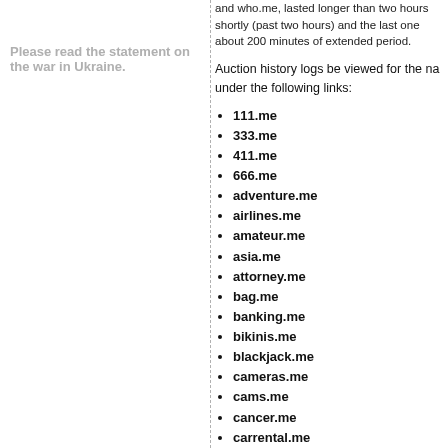Please read the statement on the war in Ukraine.
and who.me, lasted longer than two hours shortly (past two hours) and the last one about 200 minutes of extended period.
Auction history logs be viewed for the na under the following links:
111.me
333.me
411.me
666.me
adventure.me
airlines.me
amateur.me
asia.me
attorney.me
bag.me
banking.me
bikinis.me
blackjack.me
cameras.me
cams.me
cancer.me
carrental.me
center.me
club.me
coffee.me
college.me
copyright.me
country.me
course.me